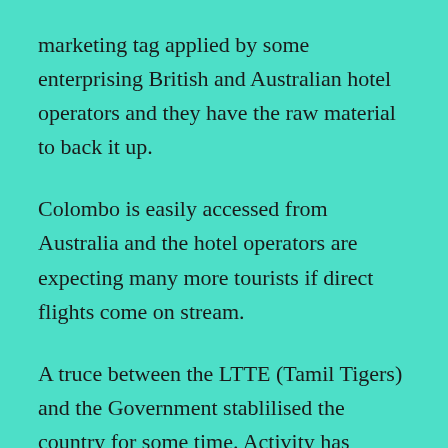marketing tag applied by some enterprising British and Australian hotel operators and they have the raw material to back it up.
Colombo is easily accessed from Australia and the hotel operators are expecting many more tourists if direct flights come on stream.
A truce between the LTTE (Tamil Tigers) and the Government stablilised the country for some time. Activity has heightened again but generally the island's north is most affected because that is where the LTTE is based.